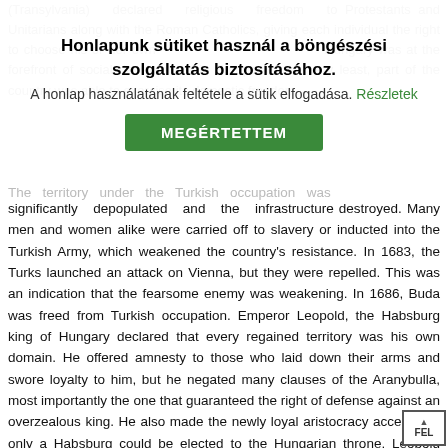(Transylvania) declared religious freedom to Protestants and Unitarians along with the Roman Catholics, giving each individual the right to choose his or her own religion. Hungary was at the forefront of social development in Europe. At the very least, part of the country was able to exercise its domestic freedom.
Honlapunk sütiket használ a böngészési szolgáltatás biztosításához.
A honlap használatának feltétele a sütik elfogadása. Részletek
MEGÉRTETTEM
The territory under the Turkish occupation was significantly depopulated and the infrastructure destroyed. Many men and women alike were carried off to slavery or inducted into the Turkish Army, which weakened the country's resistance. In 1683, the Turks launched an attack on Vienna, but they were repelled. This was an indication that the fearsome enemy was weakening. In 1686, Buda was freed from Turkish occupation. Emperor Leopold, the Habsburg king of Hungary declared that every regained territory was his own domain. He offered amnesty to those who laid down their arms and swore loyalty to him, but he negated many clauses of the Aranybulla, most importantly the one that guaranteed the right of defense against an overzealous king. He also made the newly loyal aristocracy accept that only a Habsburg could be elected to the Hungarian throne. Leopold returned the property to those who accepted